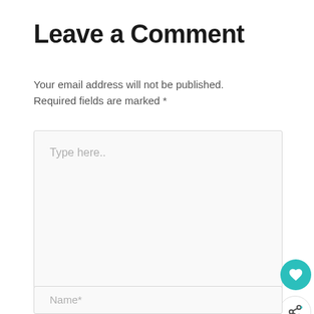Leave a Comment
Your email address will not be published.
Required fields are marked *
[Figure (screenshot): Large text area input field with placeholder text 'Type here..' and resize handle at bottom right]
[Figure (infographic): Floating action buttons: teal heart button and white share/network button]
[Figure (infographic): Advertisement banner: 'WHAT'S NEXT → Get Bonus Shoppers...' with logo]
[Figure (screenshot): Name input field with placeholder text 'Name*']